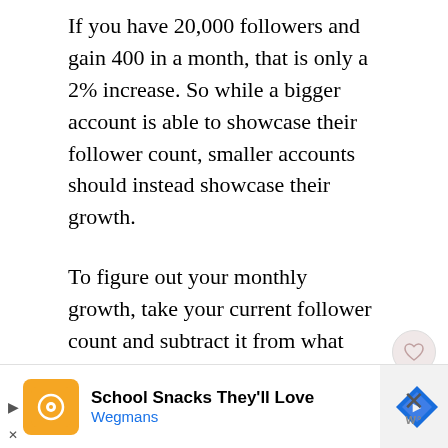If you have 20,000 followers and gain 400 in a month, that is only a 2% increase. So while a bigger account is able to showcase their follower count, smaller accounts should instead showcase their growth.
To figure out your monthly growth, take your current follower count and subtract it from what your follower amount was a month ago (a.k.a your original follower account). This will give you the increased amount. Now, take the increased amount and divide that by your original follower account and times by 100.
[Figure (other): Advertisement banner for Wegmans: School Snacks They'll Love]